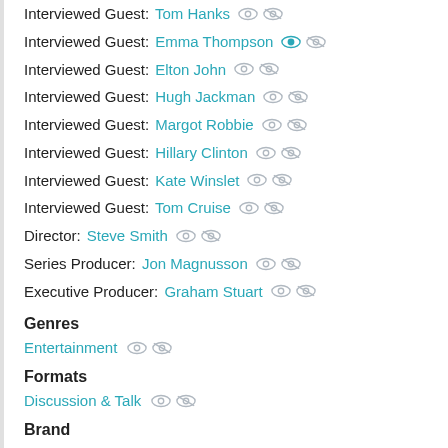Interviewed Guest: Tom Hanks
Interviewed Guest: Emma Thompson
Interviewed Guest: Elton John
Interviewed Guest: Hugh Jackman
Interviewed Guest: Margot Robbie
Interviewed Guest: Hillary Clinton
Interviewed Guest: Kate Winslet
Interviewed Guest: Tom Cruise
Director: Steve Smith
Series Producer: Jon Magnusson
Executive Producer: Graham Stuart
Genres
Entertainment
Formats
Discussion & Talk
Brand